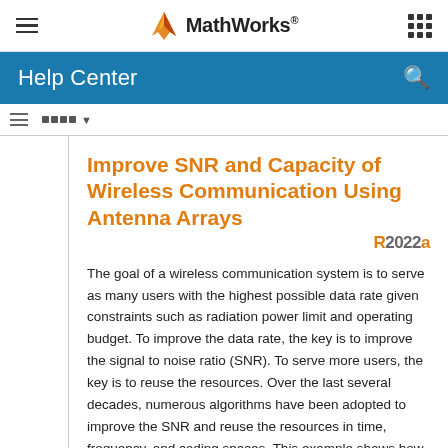MathWorks Help Center
Improve SNR and Capacity of Wireless Communication Using Antenna Arrays
The goal of a wireless communication system is to serve as many users with the highest possible data rate given constraints such as radiation power limit and operating budget. To improve the data rate, the key is to improve the signal to noise ratio (SNR). To serve more users, the key is to reuse the resources. Over the last several decades, numerous algorithms have been adopted to improve the SNR and reuse the resources in time, frequency, and coding spaces. This example shows how the adoption of antenna arrays can help improve the SNR and capacity of a wireless link.